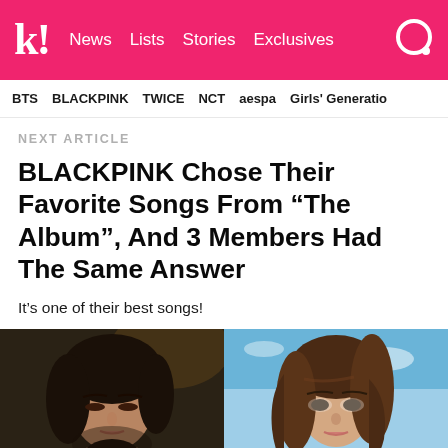k! News Lists Stories Exclusives
BTS BLACKPINK TWICE NCT aespa Girls' Generation
NEXT ARTICLE
BLACKPINK Chose Their Favorite Songs From “The Album”, And 3 Members Had The Same Answer
It’s one of their best songs!
[Figure (photo): Two side-by-side photos of BLACKPINK members, left showing a member with dark hair looking down, right showing a member with brown hair against a blue sky background]